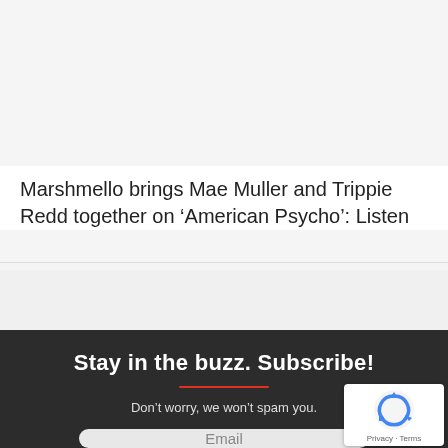[Figure (photo): DJ performing at Ultra Mexico festival, wearing a red jacket, with DJ equipment in foreground. Purple and red stage lighting. Ultra Mexico logo in bottom-left corner, RUKES.COM watermark in bottom-right.]
Marshmello brings Mae Muller and Trippie Redd together on ‘American Psycho’: Listen
Stay in the buzz. Subscribe!
Don't worry, we won't spam you.
Email